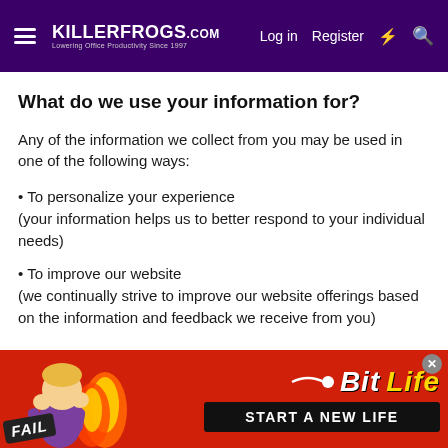KILLERFROGS.com — Log in  Register
What do we use your information for?
Any of the information we collect from you may be used in one of the following ways:
• To personalize your experience
(your information helps us to better respond to your individual needs)
• To improve our website
(we continually strive to improve our website offerings based on the information and feedback we receive from you)
[Figure (screenshot): BitLife advertisement banner with FAIL badge, animated character, flames, and 'START A NEW LIFE' text]